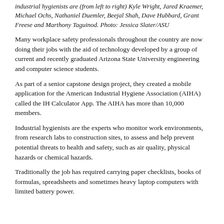industrial hygienists are (from left to right) Kyle Wright, Jared Kraemer, Michael Ochs, Nathaniel Duemler, Beejal Shah, Dave Hubbard, Grant Freese and Marthony Taguinod. Photo: Jessica Slater/ASU
Many workplace safety professionals throughout the country are now doing their jobs with the aid of technology developed by a group of current and recently graduated Arizona State University engineering and computer science students.
As part of a senior capstone design project, they created a mobile application for the American Industrial Hygiene Association (AIHA) called the IH Calculator App. The AIHA has more than 10,000 members.
Industrial hygienists are the experts who monitor work environments, from research labs to construction sites, to assess and help prevent potential threats to health and safety, such as air quality, physical hazards or chemical hazards.
Traditionally the job has required carrying paper checklists, books of formulas, spreadsheets and sometimes heavy laptop computers with limited battery power.